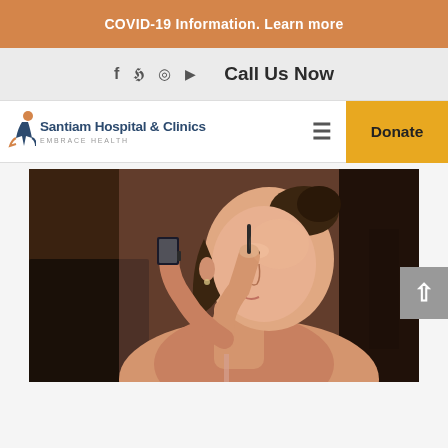COVID-19 Information. Learn more
f  y  (instagram)  (youtube)   Call Us Now
[Figure (logo): Santiam Hospital & Clinics - embrace HEALTH logo with stylized figure]
Donate
[Figure (photo): Woman applying eye makeup, holding small mirror, side profile view, warm toned lighting]